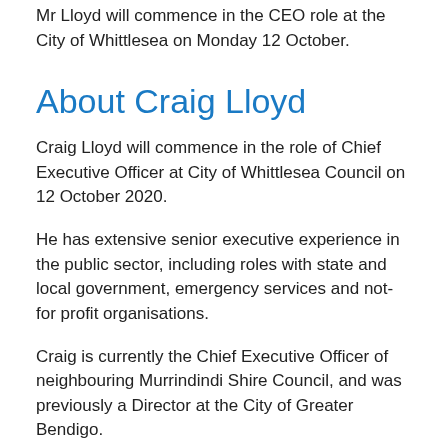Mr Lloyd will commence in the CEO role at the City of Whittlesea on Monday 12 October.
About Craig Lloyd
Craig Lloyd will commence in the role of Chief Executive Officer at City of Whittlesea Council on 12 October 2020.
He has extensive senior executive experience in the public sector, including roles with state and local government, emergency services and not-for profit organisations.
Craig is currently the Chief Executive Officer of neighbouring Murrindindi Shire Council, and was previously a Director at the City of Greater Bendigo.